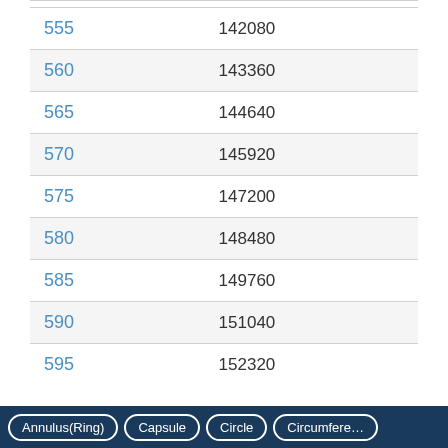| ID | Value |
| --- | --- |
| 555 | 142080 |
| 560 | 143360 |
| 565 | 144640 |
| 570 | 145920 |
| 575 | 147200 |
| 580 | 148480 |
| 585 | 149760 |
| 590 | 151040 |
| 595 | 152320 |
Annulus(Ring)  Capsule  Circle  Circumference